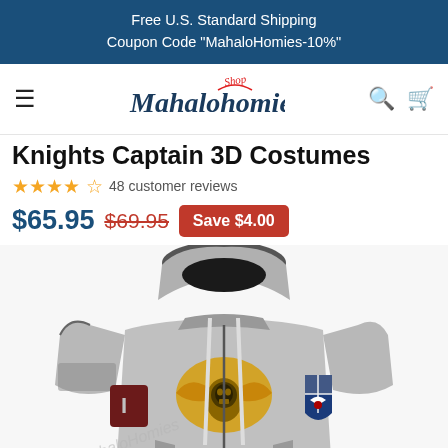Free U.S. Standard Shipping
Coupon Code "MahaloHomies-10%"
[Figure (logo): Shop Mahalohomies logo with hamburger menu, search and cart icons]
Knights Captain 3D Costumes
4.5 stars — 48 customer reviews
$65.95  $69.95  Save $4.00
[Figure (photo): Gray 3D printed hoodie styled as Space Marines Knights Captain armor, with gold eagle emblem on chest, red and blue heraldic shield on left shoulder, and skull motif. Mahalohomies watermark visible.]